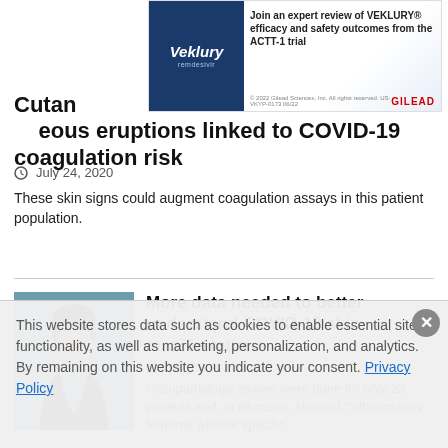[Figure (photo): Veklury (remdesivir) advertisement banner by Gilead Sciences. Text: Join an expert review of VEKLURY efficacy and safety outcomes from the ACTT-1 trial. © 2022 Gilead Sciences, Inc. All rights reserved. US-VKYP-0173 06/22]
Cutaneous eruptions linked to COVID-19 coagulation risk
July 24, 2020
These skin signs could augment coagulation assays in this patient population.
[Figure (photo): Portrait photo of a woman with dark hair, wearing a black sleeveless top, in front of a teal background.]
More data needed to better understand COVID-19 skin manifestations
July 24, 2020
Histopathologic exams were done for only 23 patients and, in all cases, showed "inflammatory features without specific
This website stores data such as cookies to enable essential site functionality, as well as marketing, personalization, and analytics. By remaining on this website you indicate your consent. Privacy Policy